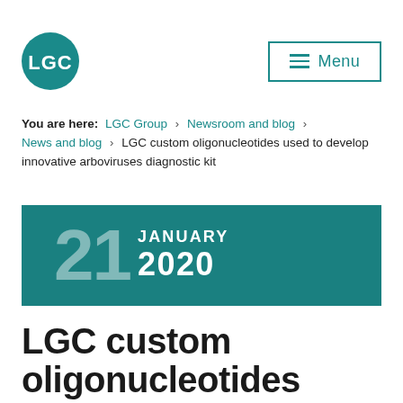LGC | Menu
You are here: LGC Group > Newsroom and blog > News and blog > LGC custom oligonucleotides used to develop innovative arboviruses diagnostic kit
[Figure (other): Teal date banner showing 21 JANUARY 2020]
LGC custom oligonucleotides used